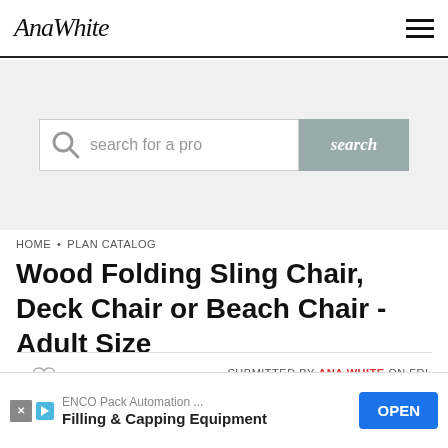AnaWhite
[Figure (screenshot): Search bar with magnifying glass icon, placeholder text 'search for a pro', and a grey 'search' button]
HOME • PLAN CATALOG
Wood Folding Sling Chair, Deck Chair or Beach Chair - Adult Size
SUBMITTED BY ANA WHITE ON FRI,
ENCO Pack Automation... Filling & Capping Equipment OPEN